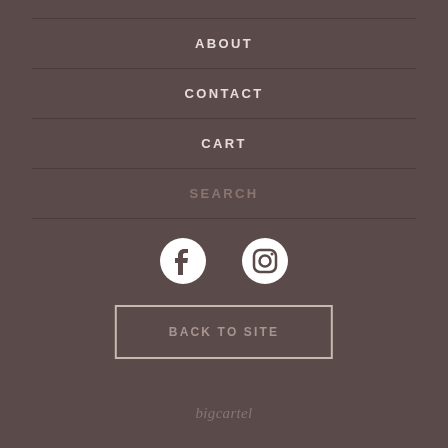ABOUT
CONTACT
CART
SEARCH
[Figure (illustration): Facebook and Instagram social media icons, white circular icons on brown background]
BACK TO SITE
bigcartel